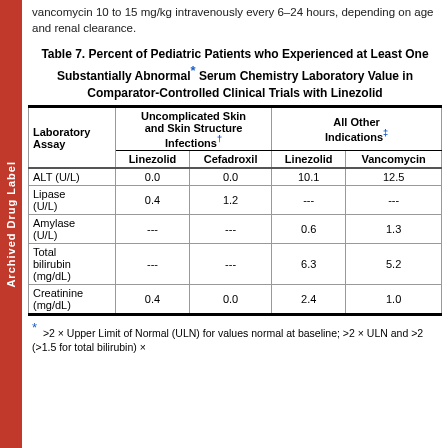vancomycin 10 to 15 mg/kg intravenously every 6–24 hours, depending on age and renal clearance.
Table 7. Percent of Pediatric Patients who Experienced at Least One Substantially Abnormal* Serum Chemistry Laboratory Value in Comparator-Controlled Clinical Trials with Linezolid
| Laboratory Assay | Uncomplicated Skin and Skin Structure Infections† Linezolid | Uncomplicated Skin and Skin Structure Infections† Cefadroxil | All Other Indications‡ Linezolid | All Other Indications‡ Vancomycin |
| --- | --- | --- | --- | --- |
| ALT (U/L) | 0.0 | 0.0 | 10.1 | 12.5 |
| Lipase (U/L) | 0.4 | 1.2 | --- | --- |
| Amylase (U/L) | --- | --- | 0.6 | 1.3 |
| Total bilirubin (mg/dL) | --- | --- | 6.3 | 5.2 |
| Creatinine (mg/dL) | 0.4 | 0.0 | 2.4 | 1.0 |
* >2 × Upper Limit of Normal (ULN) for values normal at baseline; >2 × ULN and >2 (>1.5 for total bilirubin) ×